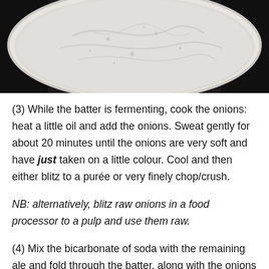[Figure (photo): Close-up top-down photo of a bowl filled with a pale, creamy, speckled batter or mixture, photographed on a dark surface.]
(3) While the batter is fermenting, cook the onions: heat a little oil and add the onions. Sweat gently for about 20 minutes until the onions are very soft and have just taken on a little colour. Cool and then either blitz to a purée or very finely chop/crush.
NB: alternatively, blitz raw onions in a food processor to a pulp and use them raw.
(4) Mix the bicarbonate of soda with the remaining ale and fold through the batter, along with the onions and the cheese, trying not to knock out all of